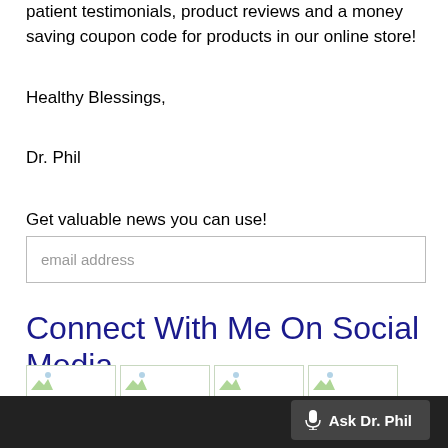patient testimonials, product reviews and a money saving coupon code for products in our online store!
Healthy Blessings,
Dr. Phil
Get valuable news you can use!
email address
Connect With Me On Social Media
[Figure (illustration): Four social media icon placeholders displayed in a row, each in a bordered box with a small broken image icon in the top-left corner.]
[Figure (screenshot): Dark bottom bar with a microphone button labeled 'Ask Dr. Phil']